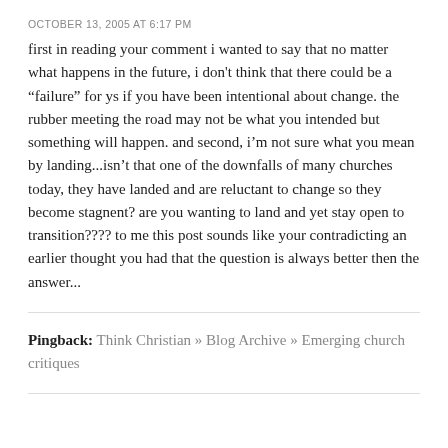OCTOBER 13, 2005 AT 6:17 PM
first in reading your comment i wanted to say that no matter what happens in the future, i don't think that there could be a “failure” for ys if you have been intentional about change. the rubber meeting the road may not be what you intended but something will happen. and second, i’m not sure what you mean by landing...isn’t that one of the downfalls of many churches today, they have landed and are reluctant to change so they become stagnent? are you wanting to land and yet stay open to transition???? to me this post sounds like your contradicting an earlier thought you had that the question is always better then the answer...
Pingback: Think Christian » Blog Archive » Emerging church critiques